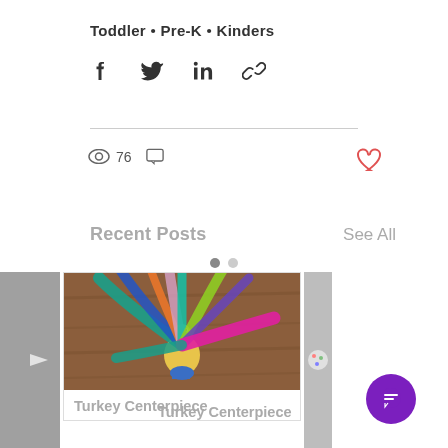Toddler • Pre-K • Kinders
[Figure (infographic): Social share icons: Facebook, Twitter, LinkedIn, Link]
76 views, 0 comments, like button
Recent Posts
See All
[Figure (photo): Turkey Centerpiece craft: colorful feathers arranged around a clay turkey body on a wooden table]
Turkey Centerpiece